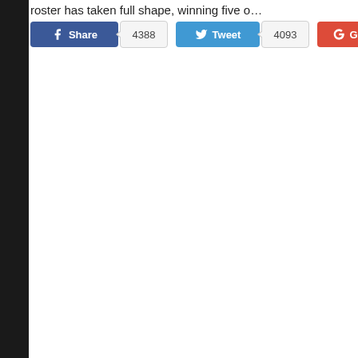roster has taken full shape, winning five o…
[Figure (screenshot): Social sharing button bar with Facebook Share (4388), Twitter Tweet (4093), Google+ (4), and Email (10) buttons]